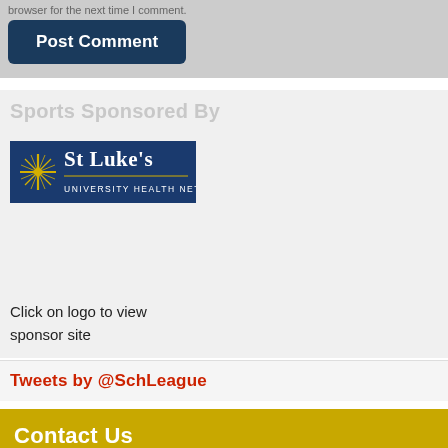browser for the next time I comment.
Post Comment
Sports Sponsored By
[Figure (logo): St Luke's University Health Network logo — dark blue rectangular background with gold starburst/cross icon and white serif text]
Click on logo to view sponsor site
Tweets by @SchLeague
Contact Us